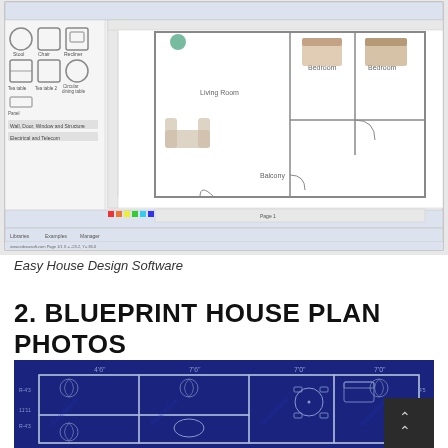[Figure (screenshot): Screenshot of Easy House Design Software showing a floor plan editor with furniture elements palette on the left and a house floor plan with living room, bedroom, and balcony on the right.]
Easy House Design Software
2. BLUEPRINT HOUSE PLAN PHOTOS
[Figure (engineering-diagram): Blueprint-style house floor plan with blue background showing room layouts including bedrooms, bathrooms, living areas with dimensions marked on the sides. Watermarked with dreamstime.com.]